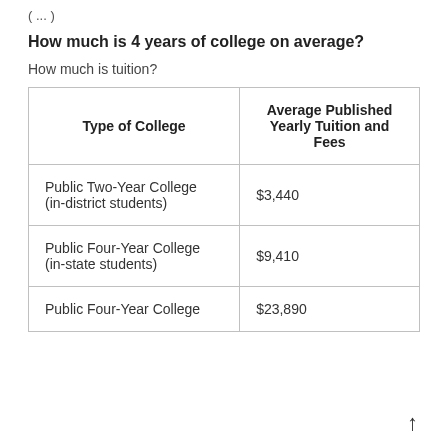( ... )
How much is 4 years of college on average?
How much is tuition?
| Type of College | Average Published Yearly Tuition and Fees |
| --- | --- |
| Public Two-Year College (in-district students) | $3,440 |
| Public Four-Year College (in-state students) | $9,410 |
| Public Four-Year College | $23,890 |